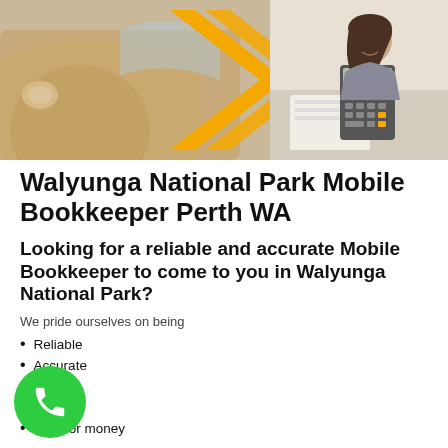[Figure (photo): Banner image showing a yellow car on the left, a large yellow arrow/chevron in the center, and a woman smiling while using a calculator on the right, against a white desk background.]
Walyunga National Park Mobile Bookkeeper Perth WA
Looking for a reliable and accurate Mobile Bookkeeper to come to you in Walyunga National Park?
We pride ourselves on being
Reliable
Accurate
Timely
Flexible
Value for money
[Figure (illustration): Green circular phone call button with a white telephone handset icon.]